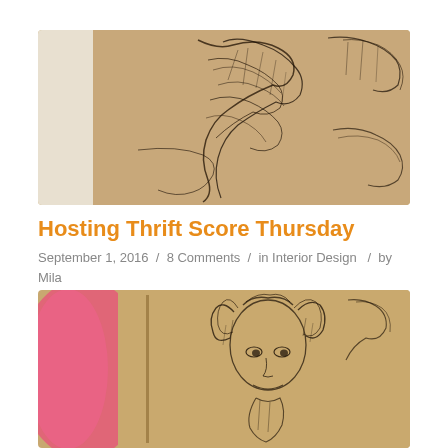[Figure (illustration): Close-up photograph of a hand-drawn sketch on aged paper showing a figure with flowing hair and drapery, rendered in dark ink lines on warm tan/beige background, with a white border visible on the left side]
Hosting Thrift Score Thursday
September 1, 2016 / 8 Comments / in Interior Design / by Mila
[Figure (photo): Close-up photograph of the same or similar hand-drawn sketch on aged paper showing a figure face with detailed eyes, flowing hair, rendered in dark ink lines on warm tan background, with a blurred pink/red element visible on the left side]